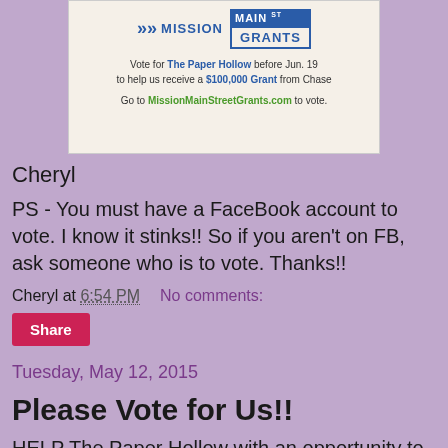[Figure (screenshot): Mission Main Street Grants advertisement banner. Shows logo with blue arrows and text 'MISSION MAIN ST GRANTS'. Text reads: 'Vote for The Paper Hollow before Jun. 19 to help us receive a $100,000 Grant from Chase. Go to MissionMainStreetGrants.com to vote.']
Cheryl
PS - You must have a FaceBook account to vote.  I know it stinks!!  So if you aren't on FB, ask someone who is to vote. Thanks!!
Cheryl at 6:54 PM    No comments:
Share
Tuesday, May 12, 2015
Please Vote for Us!!
HELP The Paper Hollow with an opportunity to grow